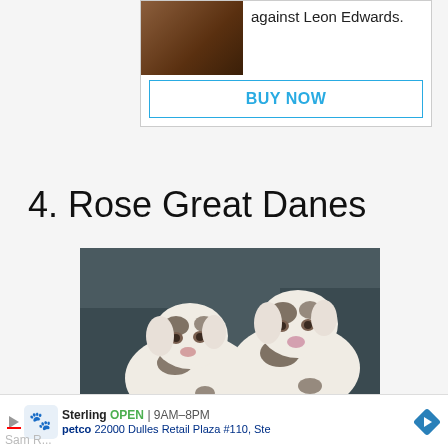[Figure (screenshot): Advertisement box showing UFC-related image with text 'against Leon Edwards.' and a BUY NOW button with cyan border]
4. Rose Great Danes
[Figure (photo): Two white Great Dane puppies with black spots lying on a dark leather couch, looking at the camera]
Sterling OPEN | 9AM–8PM
petco  22000 Dulles Retail Plaza #110, Ste
Sam R...